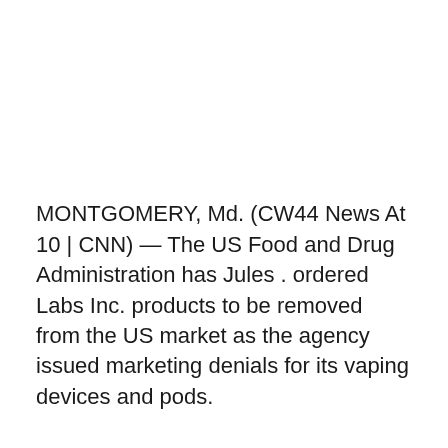MONTGOMERY, Md. (CW44 News At 10 | CNN) — The US Food and Drug Administration has Jules . ordered Labs Inc. products to be removed from the US market as the agency issued marketing denials for its vaping devices and pods.